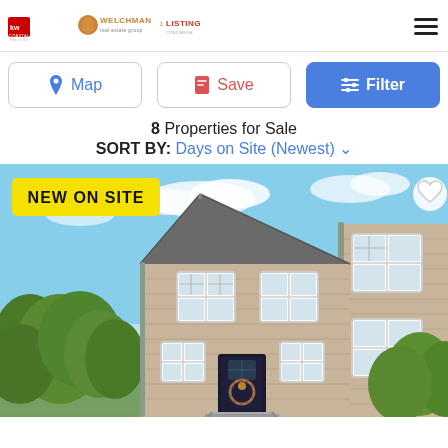KW Coastal | Welchman | Listing
Map | Save | Filter
8 Properties for Sale
SORT BY: Days on Site (Newest)
[Figure (photo): Exterior photo of a two-story colonial-style home with beige/tan vinyl siding, white trim windows, dark roof, green trees on left side, with a 'NEW ON SITE' yellow badge overlay and a heart/favorite button in the top right corner.]